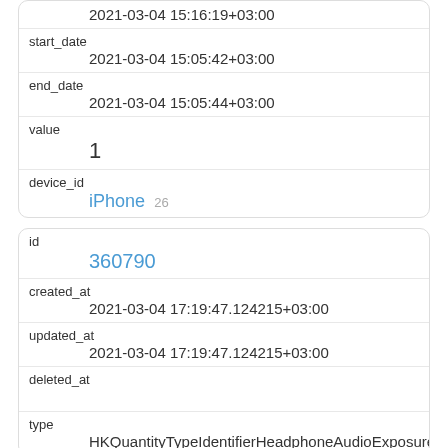|  | 2021-03-04 15:16:19+03:00 |
| start_date | 2021-03-04 15:05:42+03:00 |
| end_date | 2021-03-04 15:05:44+03:00 |
| value | 1 |
| device_id | iPhone 26 |
| id | 360790 |
| created_at | 2021-03-04 17:19:47.124215+03:00 |
| updated_at | 2021-03-04 17:19:47.124215+03:00 |
| deleted_at |  |
| type | HKQuantityTypeIdentifierHeadphoneAudioExposure |